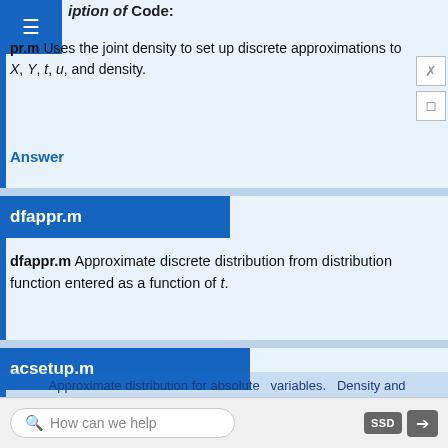ption of Code:
pr.m Uses the joint density to set up discrete approximations to X, Y, t, u, and density.
Answer
dfappr.m
dfappr.m Approximate discrete distribution from distribution function entered as a function of t.
Answer
acsetup.m
Description of Code:
Approximate distribution for absolute variables. Density and